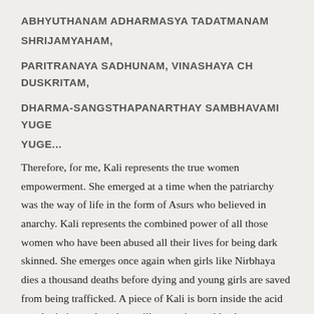ABHYUTHANAM ADHARMASYA TADATMANAM SHRIJAMYAHAM,

PARITRANAYA SADHUNAM, VINASHAYA CH DUSKRITAM,

DHARMA-SANGSTHAPANARTHAY SAMBHAVAMI YUGE YUGE...
Therefore, for me, Kali represents the true women empowerment. She emerged at a time when the patriarchy was the way of life in the form of Asurs who believed in anarchy. Kali represents the combined power of all those women who have been abused all their lives for being dark skinned. She emerges once again when girls like Nirbhaya dies a thousand deaths before dying and young girls are saved from being trafficked. A piece of Kali is born inside the acid attack victims, when they will to survive and lead a